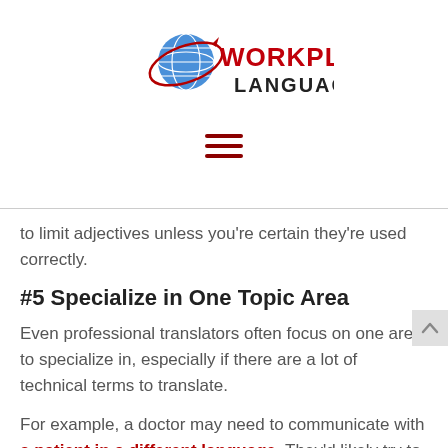[Figure (logo): Workplace Languages logo with globe graphic, red orbital ring, and text 'WORKPLACE LANGUAGES']
to limit adjectives unless you're certain they're used correctly.
#5 Specialize in One Topic Area
Even professional translators often focus on one area to specialize in, especially if there are a lot of technical terms to translate.
For example, a doctor may need to communicate with a patient in a different language. They'd likely try to find a translator who specializes in health care or medicine for